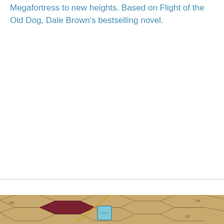Megafortress to new heights. Based on Flight of the Old Dog, Dale Brown's bestselling novel.
[Figure (photo): Close-up photo of a board game showing hexagonal tiles in tan/beige colors with grid lines, a small light blue square game piece in the center, and a dark red/maroon hexagonal tile nearby.]